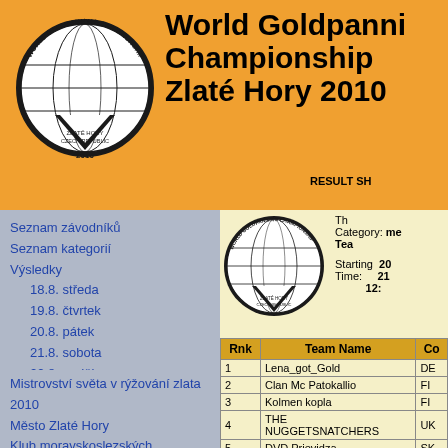[Figure (logo): World Goldpanning Championship circular logo with globe and gold pan, Zlaté Hory Czech Republic 2010]
World Goldpanning Championship Zlaté Hory 2010
RESULT SH
Seznam závodníků
Seznam kategorií
Výsledky
18.8. středa
19.8. čtvrtek
20.8. pátek
21.8. sobota
22.8. neděle
Vzkazy
Mistrovství světa v rýžování zlata 2010
Město Zlaté Hory
Klub moravskoslezských zlatokopů
Česká asociace zlatokopů
[Figure (logo): World Goldpanning Championship circular logo smaller version]
The
Category: me
Tea
20
21
Starting Time: 12:
| Rnk | Team Name | Co |
| --- | --- | --- |
| 1 | Lena_got_Gold | DE |
| 2 | Clan Mc Patokallio | FI |
| 3 | Kolmen kopla | FI |
| 4 | THE NUGGETSNATCHERS | UK |
| 5 | DVD Prievidza | SK |